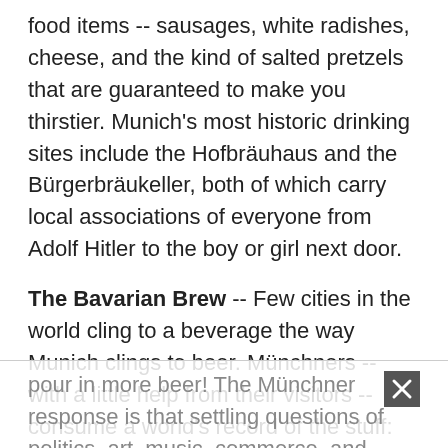food items -- sausages, white radishes, cheese, and the kind of salted pretzels that are guaranteed to make you thirstier. Munich's most historic drinking sites include the Hofbräuhaus and the Bürgerbräukeller, both of which carry local associations of everyone from Adolf Hitler to the boy or girl next door.
The Bavarian Brew -- Few cities in the world cling to a beverage the way Munich clings to beer. Münchners -- with a little help from their visitors -- consume a world's record of the stuff: 280 liters a year, per capita (as opposed to a wimpy 150 liters in other parts of Germany). This kind of "heroism" usually prompts a cynical comment from the wine drinkers of Berlin and the Rhineland -- they say that Bavarians never open their mouths except to
pour in more beer! The Münchner response is that settling questions of politics, art, music, commerce, and